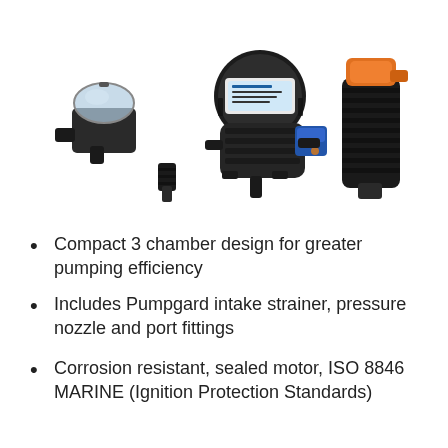[Figure (photo): Product photo showing a marine water pump kit with components: a Pumpgard inline intake strainer (transparent cap), a 3-chamber diaphragm pump body (black with blue pressure switch and label), hose fittings/adapters (black), and an orange/black pressure spray nozzle.]
Compact 3 chamber design for greater pumping efficiency
Includes Pumpgard intake strainer, pressure nozzle and port fittings
Corrosion resistant, sealed motor, ISO 8846 MARINE (Ignition Protection Standards)